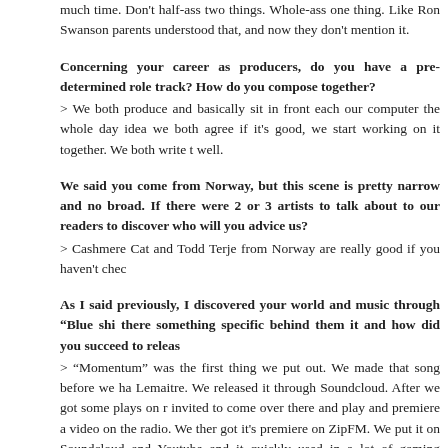much time. Don't half-ass two things. Whole-ass one thing. Like Ron Swanson parents understood that, and now they don't mention it.
Concerning your career as producers, do you have a pre-determined role track? How do you compose together?
> We both produce and basically sit in front each our computer the whole day idea we both agree if it's good, we start working on it together. We both write t well.
We said you come from Norway, but this scene is pretty narrow and no broad. If there were 2 or 3 artists to talk about to our readers to discover who will you advice us?
> Cashmere Cat and Todd Terje from Norway are really good if you haven't chec
As I said previously, I discovered your world and music through “Blue shi there something specific behind them it and how did you succeed to releas
> “Momentum” was the first thing we put out. We made that song before we ha Lemaitre. We released it through Soundcloud. After we got some plays on r invited to come over there and play and premiere a video on the radio. We ther got it's premiere on ZipFM. We put it on Soundcloud and Youtube and it quickly used in a lot of gaming videos. Later we released that on "The Friendly Sound E